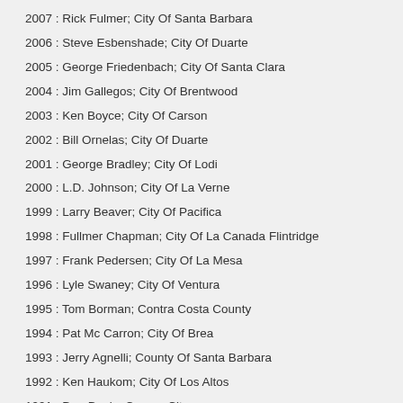2007 : Rick Fulmer; City Of Santa Barbara
2006 : Steve Esbenshade; City Of Duarte
2005 : George Friedenbach; City Of Santa Clara
2004 : Jim Gallegos; City Of Brentwood
2003 : Ken Boyce; City Of Carson
2002 : Bill Ornelas; City Of Duarte
2001 : George Bradley; City Of Lodi
2000 : L.D. Johnson; City Of La Verne
1999 : Larry Beaver; City Of Pacifica
1998 : Fullmer Chapman; City Of La Canada Flintridge
1997 : Frank Pedersen; City Of La Mesa
1996 : Lyle Swaney; City Of Ventura
1995 : Tom Borman; Contra Costa County
1994 : Pat Mc Carron; City Of Brea
1993 : Jerry Agnelli; County Of Santa Barbara
1992 : Ken Haukom; City Of Los Altos
1991 : Don Davis; Carson City